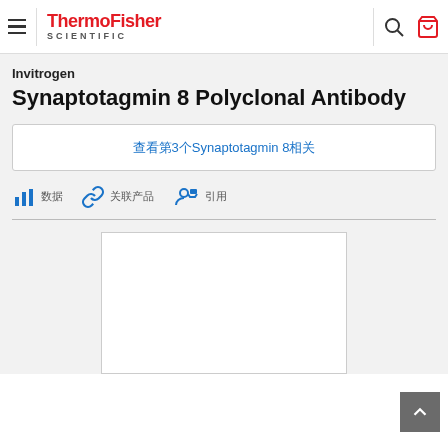ThermoFisher SCIENTIFIC — navigation header with hamburger menu, logo, search and cart icons
Invitrogen
Synaptotagmin 8 Polyclonal Antibody
查看第3个Synaptotagmin 8相关
数据 关联产品 引用
[Figure (photo): White product image placeholder box]